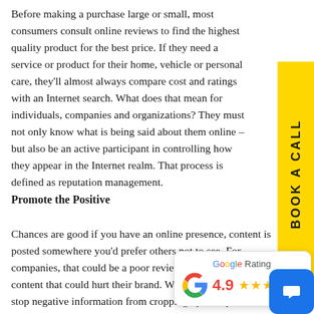Before making a purchase large or small, most consumers consult online reviews to find the highest quality product for the best price. If they need a service or product for their home, vehicle or personal care, they'll almost always compare cost and ratings with an Internet search. What does that mean for individuals, companies and organizations? They must not only know what is being said about them online – but also be an active participant in controlling how they appear in the Internet realm. That process is defined as reputation management.
[Figure (infographic): Yellow vertical 'BOOK A CALL' button on the right side of the page]
Promote the Positive
Chances are good if you have an online presence, content is posted somewhere you'd prefer others not to see. For companies, that could be a poor review or other unflattering content that could hurt their brand. While there's no way to stop negative information from cropping up, it is possible to navigate the damaging impact it might have.
[Figure (infographic): Google Rating widget showing 4.9 stars out of 5 with Google logo]
[Figure (infographic): Blue chat bubble button in the bottom-right corner]